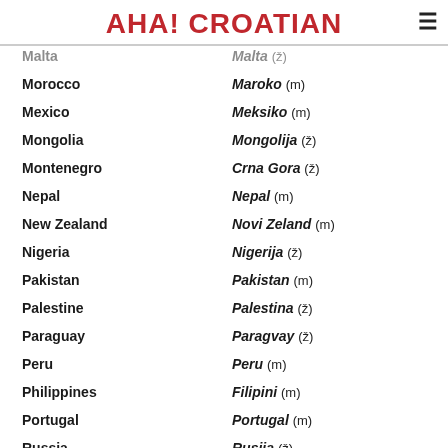AHA! CROATIAN
Malta | Malta (ž)
Morocco | Maroko (m)
Mexico | Meksiko (m)
Mongolia | Mongolija (ž)
Montenegro | Crna Gora (ž)
Nepal | Nepal (m)
New Zealand | Novi Zeland (m)
Nigeria | Nigerija (ž)
Pakistan | Pakistan (m)
Palestine | Palestina (ž)
Paraguay | Paragvay (ž)
Peru | Peru (m)
Philippines | Filipini (m)
Portugal | Portugal (m)
Russia | Rusija (ž)
Salvador | Salvador (m)
Senegal | Senegal (m)